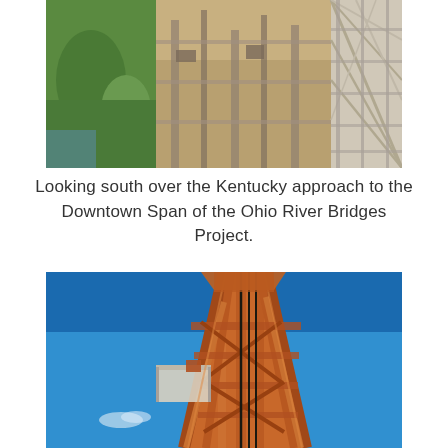[Figure (photo): Aerial view looking south over the Kentucky approach to the Downtown Span of the Ohio River Bridges Project, showing construction site with green parkland on the left, active construction in the center, and bridge truss structure on the right.]
Looking south over the Kentucky approach to the Downtown Span of the Ohio River Bridges Project.
[Figure (photo): Ground-level upward view of orange-painted steel bridge tower/pylon construction against a bright blue sky, showing complex truss framework and a worker platform near the top.]